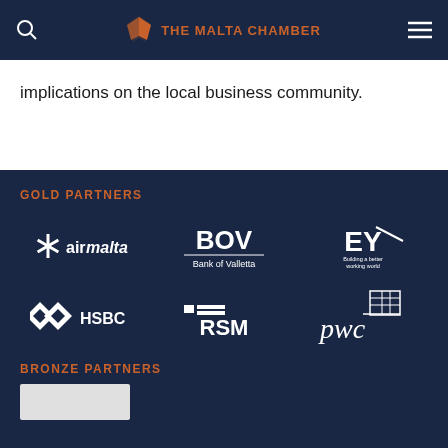THE MALTA CHAMBER
implications on the local business community.
GOLD PARTNERS
[Figure (logo): Air Malta logo - white star/asterisk and airmalta text]
[Figure (logo): BOV Bank of Valletta logo in white]
[Figure (logo): EY Building a better working world logo in white]
[Figure (logo): HSBC logo in white]
[Figure (logo): RSM logo in white]
[Figure (logo): PwC logo in white]
BRONZE PARTNERS